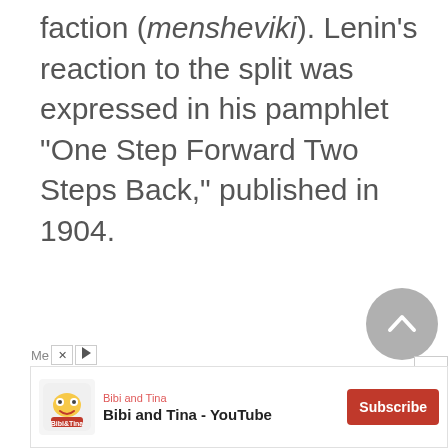faction (mensheviki). Lenin's reaction to the split was expressed in his pamphlet "One Step Forward Two Steps Back," published in 1904.
[Figure (other): Scroll-to-top circular button with upward chevron arrow icon, gray background]
[Figure (other): Advertisement banner for Bibi and Tina YouTube channel with Subscribe button]